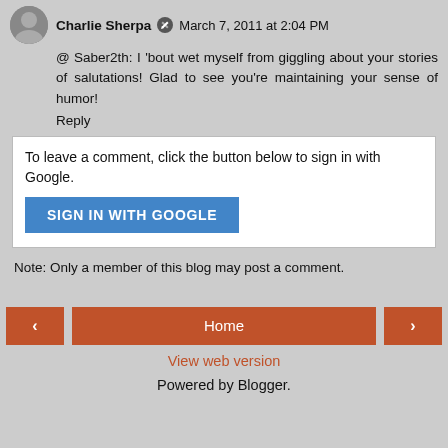Charlie Sherpa  March 7, 2011 at 2:04 PM
@ Saber2th: I 'bout wet myself from giggling about your stories of salutations! Glad to see you're maintaining your sense of humor!
Reply
To leave a comment, click the button below to sign in with Google.
SIGN IN WITH GOOGLE
Note: Only a member of this blog may post a comment.
Home
View web version
Powered by Blogger.